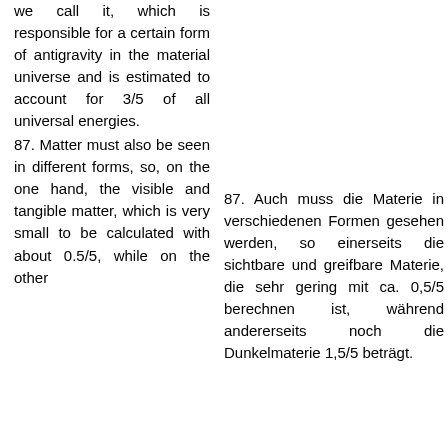we call it, which is responsible for a certain form of antigravity in the material universe and is estimated to account for 3/5 of all universal energies.
87. Matter must also be seen in different forms, so, on the one hand, the visible and tangible matter, which is very small to be calculated with about 0.5/5, while on the other
87. Auch muss die Materie in verschiedenen Formen gesehen werden, so einerseits die sichtbare und greifbare Materie, die sehr gering mit ca. 0,5/5 berechnen ist, während andererseits noch die Dunkelmaterie 1,5/5 beträgt.